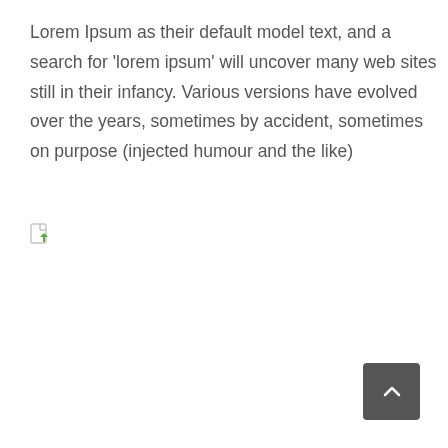Lorem Ipsum as their default model text, and a search for 'lorem ipsum' will uncover many web sites still in their infancy. Various versions have evolved over the years, sometimes by accident, sometimes on purpose (injected humour and the like)
[Figure (other): Broken image placeholder icon (small document icon with green arrow)]